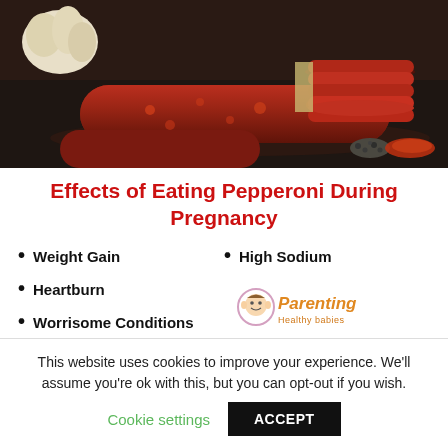[Figure (photo): Photo of pepperoni sausages and sliced pepperoni on a dark slate surface with spices (black pepper and chili powder) in the background.]
Effects of Eating Pepperoni During Pregnancy
Weight Gain
High Sodium
Heartburn
Worrisome Conditions
[Figure (logo): Parenting Healthy Babies logo with a baby face icon and orange italic text reading 'Parenting' with smaller text below.]
This website uses cookies to improve your experience. We'll assume you're ok with this, but you can opt-out if you wish.
Cookie settings   ACCEPT